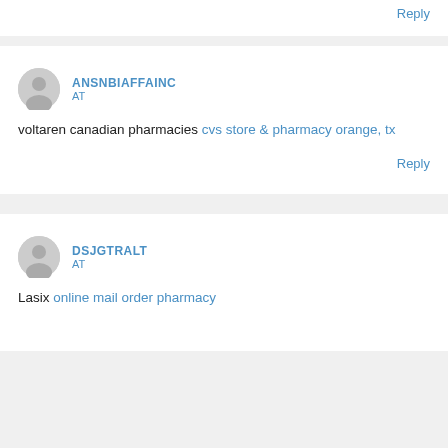Reply
ANSNBIAFFAINC
AT
voltaren canadian pharmacies cvs store & pharmacy orange, tx
Reply
DSJGTRALT
AT
Lasix online mail order pharmacy